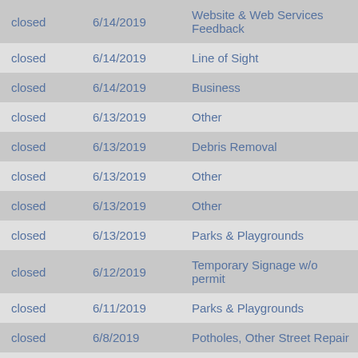| Status | Date | Category |
| --- | --- | --- |
| closed | 6/14/2019 | Website & Web Services Feedback |
| closed | 6/14/2019 | Line of Sight |
| closed | 6/14/2019 | Business |
| closed | 6/13/2019 | Other |
| closed | 6/13/2019 | Debris Removal |
| closed | 6/13/2019 | Other |
| closed | 6/13/2019 | Other |
| closed | 6/13/2019 | Parks & Playgrounds |
| closed | 6/12/2019 | Temporary Signage w/o permit |
| closed | 6/11/2019 | Parks & Playgrounds |
| closed | 6/8/2019 | Potholes, Other Street Repair |
| closed | 6/7/2019 | Temporary Signage w/o permit |